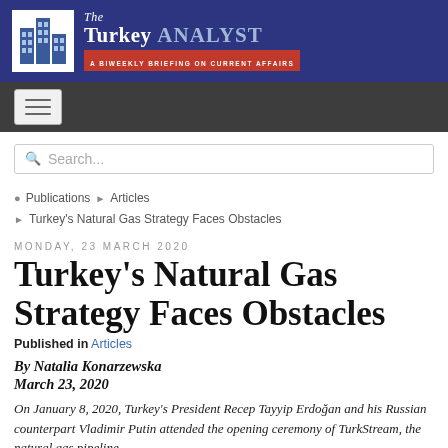The Turkey ANALYST — A BIWEEKLY BRIEFING ON CURRENT AFFAIRS
[Figure (logo): The Turkey Analyst logo with building icon and title text on blue background]
Search...
Publications ▶ Articles ▶ Turkey's Natural Gas Strategy Faces Obstacles
MONDAY, 23 MARCH 2020
Turkey's Natural Gas Strategy Faces Obstacles
Published in Articles
By Natalia Konarzewska
March 23, 2020
On January 8, 2020, Turkey's President Recep Tayyip Erdoğan and his Russian counterpart Vladimir Putin attended the opening ceremony of TurkStream, the natural gas pipeline...